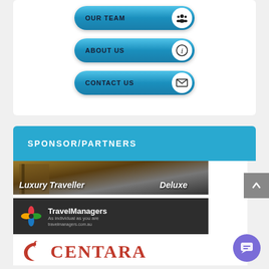[Figure (screenshot): Navigation button 'OUR TEAM' with group icon on blue pill-shaped button]
[Figure (screenshot): Navigation button 'ABOUT US' with info icon on blue pill-shaped button]
[Figure (screenshot): Navigation button 'CONTACT US' with envelope icon on blue pill-shaped button]
SPONSOR/PARTNERS
[Figure (photo): Luxury Traveller Deluxe banner showing hotel doorman and luxury car]
[Figure (logo): TravelManagers logo - As individual as you are - travelmanagers.com.au]
[Figure (logo): Centara logo in red serif font]